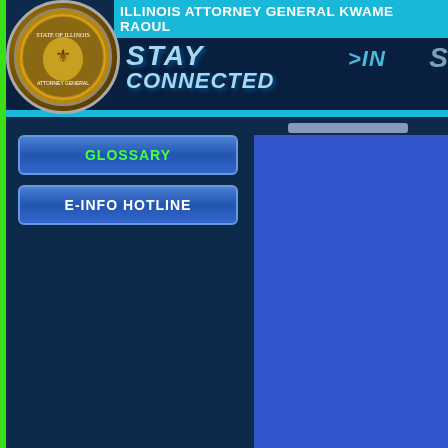[Figure (logo): Illinois state seal circular logo in gold/brown tones]
ILLINOIS ATTORNEY GENERAL KWAME RAOUL
[Figure (infographic): Stay Connected > In banner with blue network background, showing text STAY CONNECTED >IN with partial right side cut off]
GLOSSARY
E-INFO HOTLINE